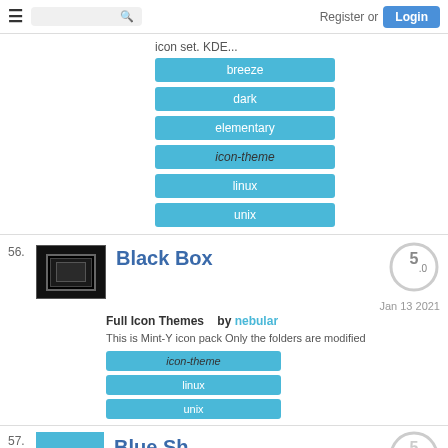Register or Login
icon set. KDE...
breeze
dark
elementary
icon-theme
linux
unix
56.
Black Box
5.0
Jan 13 2021
Full Icon Themes   by nebular
This is Mint-Y icon pack Only the folders are modified
icon-theme
linux
unix
57.
5.0